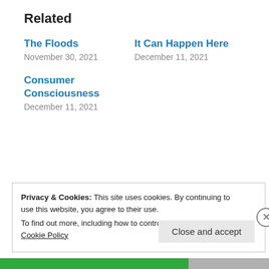Related
The Floods
November 30, 2021
It Can Happen Here
December 11, 2021
Consumer Consciousness
December 11, 2021
Privacy & Cookies: This site uses cookies. By continuing to use this website, you agree to their use.
To find out more, including how to control cookies, see here: Cookie Policy
Close and accept